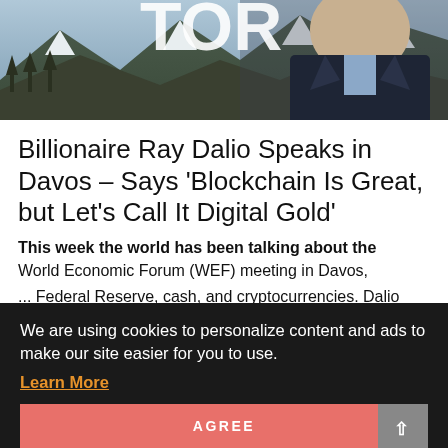[Figure (photo): Photo of a man in a dark suit speaking at what appears to be the World Economic Forum in Davos, with snowy mountain trees in the background and a partial logo visible at top]
Billionaire Ray Dalio Speaks in Davos – Says 'Blockchain Is Great, but Let's Call It Digital Gold'
This week the world has been talking about the World Economic Forum (WEF) meeting in Davos, ... s on ... by, the Federal Reserve, cash, and cryptocurrencies. Dalio
We are using cookies to personalize content and ads to make our site easier for you to use.
Learn More
AGREE